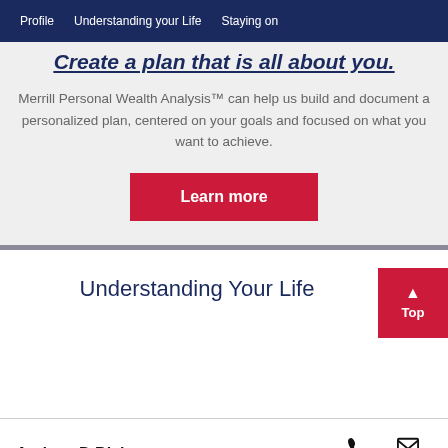Profile   Understanding your Life   Staying on
Create a plan that is all about you.
Merrill Personal Wealth Analysis™ can help us build and document a personalized plan, centered on your goals and focused on what you want to achieve.
Learn more
Understanding Your Life
Top
Andrew D Blake
CALL
EMAIL